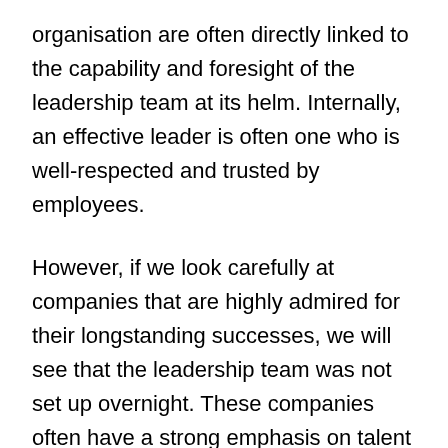organisation are often directly linked to the capability and foresight of the leadership team at its helm. Internally, an effective leader is often one who is well-respected and trusted by employees.
However, if we look carefully at companies that are highly admired for their longstanding successes, we will see that the leadership team was not set up overnight. These companies often have a strong emphasis on talent and leadership development, resulting in leaders that can steer them through changes to remain relevant and successful. “The focus on leadership development also helps these companies groom a pipeline of leaders who can continue to lead the organisation in the right direction.” Alvin Tan, Executive Director, Human